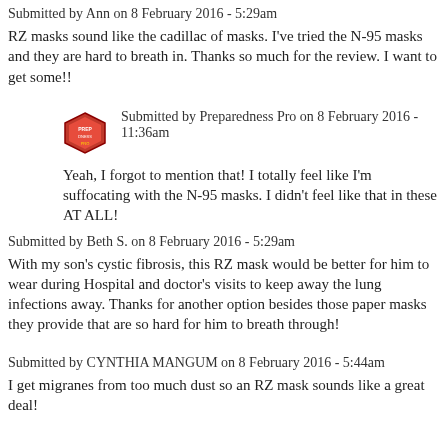Submitted by Ann on 8 February 2016 - 5:29am
RZ masks sound like the cadillac of masks. I've tried the N-95 masks and they are hard to breath in. Thanks so much for the review. I want to get some!!
Submitted by Preparedness Pro on 8 February 2016 - 11:36am
Yeah, I forgot to mention that! I totally feel like I'm suffocating with the N-95 masks. I didn't feel like that in these AT ALL!
Submitted by Beth S. on 8 February 2016 - 5:29am
With my son's cystic fibrosis, this RZ mask would be better for him to wear during Hospital and doctor's visits to keep away the lung infections away. Thanks for another option besides those paper masks they provide that are so hard for him to breath through!
Submitted by CYNTHIA MANGUM on 8 February 2016 - 5:44am
I get migranes from too much dust so an RZ mask sounds like a great deal!